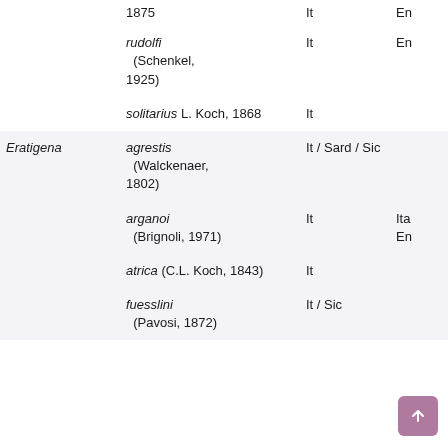| Genus | Species | Distribution | Ref |
| --- | --- | --- | --- |
|  | 1875 | It | En |
|  | rudolfi (Schenkel, 1925) | It | En |
|  | solitarius L. Koch, 1868 | It |  |
| Eratigena | agrestis (Walckenaer, 1802) | It / Sard / Sic |  |
|  | arganoi (Brignoli, 1971) | It | Ita En |
|  | atrica (C.L. Koch, 1843) | It |  |
|  | fuesslini (Pavosi, 1872) | It / Sic |  |